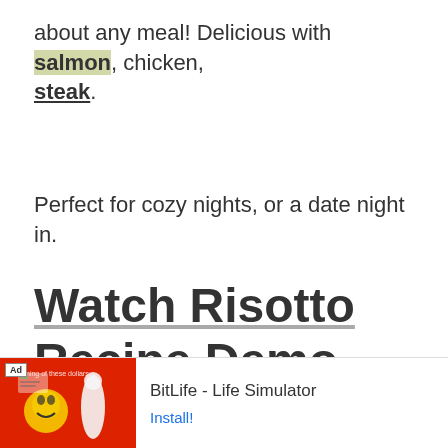about any meal! Delicious with salmon, chicken, steak.
Perfect for cozy nights, or a date night in.
Watch Risotto Recipe Demo Video (2:25 mins)
[Figure (other): Heart/favorite button with count 903 and a search button]
[Figure (other): Ad banner: BitLife - Life Simulator with Install button]